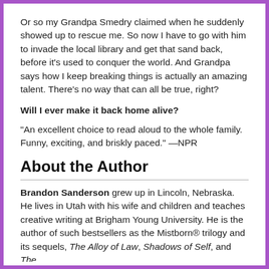Or so my Grandpa Smedry claimed when he suddenly showed up to rescue me. So now I have to go with him to invade the local library and get that sand back, before it's used to conquer the world. And Grandpa says how I keep breaking things is actually an amazing talent. There's no way that can all be true, right?
Will I ever make it back home alive?
"An excellent choice to read aloud to the whole family. Funny, exciting, and briskly paced." —NPR
About the Author
Brandon Sanderson grew up in Lincoln, Nebraska. He lives in Utah with his wife and children and teaches creative writing at Brigham Young University. He is the author of such bestsellers as the Mistborn® trilogy and its sequels, The Alloy of Law, Shadows of Self, and The